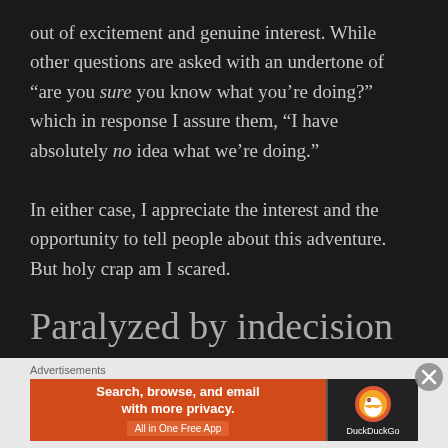out of excitement and genuine interest. While other questions are asked with an undertone of “are you sure you know what you’re doing?” which in response I assure them, “I have absolutely no idea what we’re doing.”
In either case, I appreciate the interest and the opportunity to tell people about this adventure. But holy crap am I scared.
Paralyzed by indecision – what we haven’t done so far
Advertisements
[Figure (other): DuckDuckGo advertisement banner: Search, browse, and email with more privacy. All in One Free App. DuckDuckGo logo on dark background.]